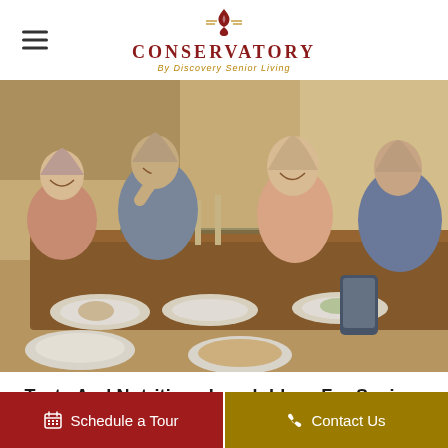CONSERVATORY By Discovery Senior Living
[Figure (photo): Group of four senior adults dining together at a wooden table, smiling and toasting with wine glasses, plates of food in front of them, warm indoor lighting]
Tasty And Nutritious Lunch Ideas For Seniors
Schedule a Tour
Contact Us